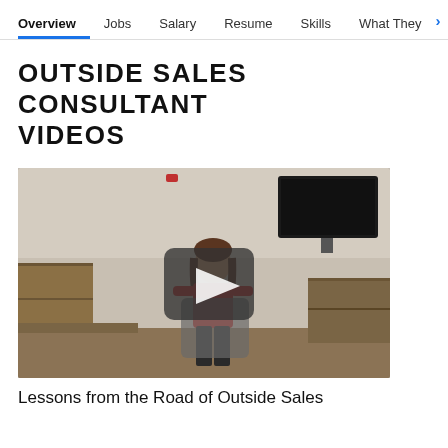Overview  Jobs  Salary  Resume  Skills  What They >
OUTSIDE SALES CONSULTANT VIDEOS
[Figure (photo): Video thumbnail showing a woman standing in an office/conference room with a play button overlay. The room has dark cabinetry, a TV on the wall, and office equipment.]
Lessons from the Road of Outside Sales